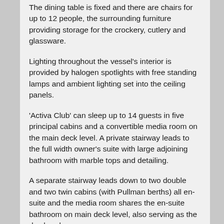The dining table is fixed and there are chairs for up to 12 people, the surrounding furniture providing storage for the crockery, cutlery and glassware.
Lighting throughout the vessel's interior is provided by halogen spotlights with free standing lamps and ambient lighting set into the ceiling panels.
'Activa Club' can sleep up to 14 guests in five principal cabins and a convertible media room on the main deck level. A private stairway leads to the full width owner's suite with large adjoining bathroom with marble tops and detailing.
A separate stairway leads down to two double and two twin cabins (with Pullman berths) all en-suite and the media room shares the en-suite bathroom on main deck level, also serving as the day head.
Full reverse cycle Cruisair air-conditioning to whole vessel
Crew area forward on lower deck accessed via galley, sleeping 5/6 in captain's cabin and two bunk cabins all en-suite.